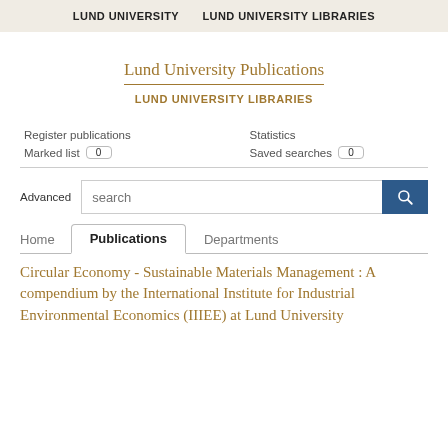LUND UNIVERSITY    LUND UNIVERSITY LIBRARIES
Lund University Publications
LUND UNIVERSITY LIBRARIES
Register publications   Statistics
Marked list 0   Saved searches 0
Advanced   search
Home   Publications   Departments
Circular Economy - Sustainable Materials Management : A compendium by the International Institute for Industrial Environmental Economics (IIIEE) at Lund University